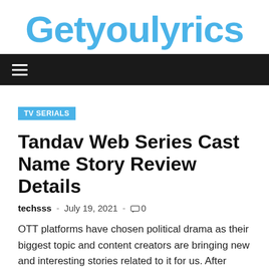Getyoulyrics
TV SERIALS
Tandav Web Series Cast Name Story Review Details
techsss - July 19, 2021 - 0
OTT platforms have chosen political drama as their biggest topic and content creators are bringing new and interesting stories related to it for us. After